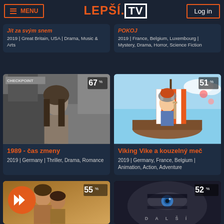≡ MENU | LEPŠÍ.TV | Log in
Jít za svým snem
2019 | Great Britain, USA | Drama, Music & Arts
POKOJ
2019 | France, Belgium, Luxembourg | Mystery, Drama, Horror, Science Fiction
[Figure (photo): Black and white photo of a woman with long hair standing in front of a building with 'CHECKPOINT' sign, rating badge 67%]
1989 - čas zmeny
2019 | Germany | Thriller, Drama, Romance
[Figure (photo): Animated cartoon image of a Viking child character holding a sword, on a colorful ship scene, rating badge 51%]
Viking Vike a kouzelný meč
2019 | Germany, France, Belgium | Animation, Action, Adventure
[Figure (photo): Photo of two people in a warm-toned scene, with an orange play/back arrow icon overlay, rating badge 55%]
[Figure (photo): Close-up dark photo of a woman's eye with blue iris, with 'DALŠÍ' text overlay, rating badge 52%]